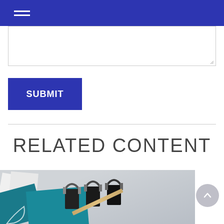[Figure (screenshot): Text area input box (empty)]
[Figure (screenshot): SUBMIT button — blue rectangle with white bold text]
RELATED CONTENT
[Figure (photo): Office supplies photo: binder clips, pencil, teal and white cards on grey surface]